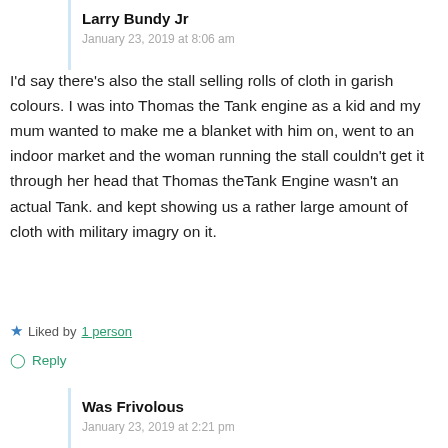Larry Bundy Jr
January 23, 2019 at 8:06 am
I'd say there's also the stall selling rolls of cloth in garish colours. I was into Thomas the Tank engine as a kid and my mum wanted to make me a blanket with him on, went to an indoor market and the woman running the stall couldn't get it through her head that Thomas theTank Engine wasn't an actual Tank. and kept showing us a rather large amount of cloth with military imagry on it.
Liked by 1 person
Reply
Was Frivolous
January 23, 2019 at 2:21 pm